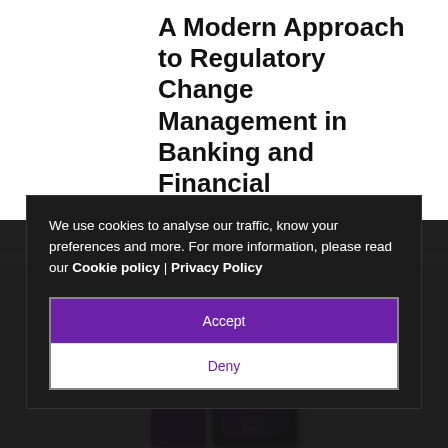A Modern Approach to Regulatory Change Management in Banking and Financial
We use cookies to analyse our traffic, know your preferences and more. For more information, please read our Cookie policy | Privacy Policy
Accept
Deny
[Figure (photo): Book cover and tablet/e-reader showing a purple book about digital finance topics]